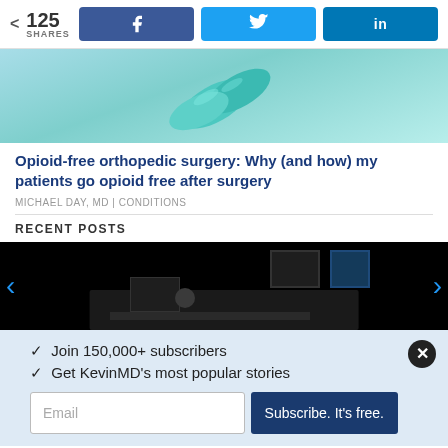< 125 SHARES
[Figure (photo): Teal/turquoise pills on a light blue background]
Opioid-free orthopedic surgery: Why (and how) my patients go opioid free after surgery
MICHAEL DAY, MD | CONDITIONS
RECENT POSTS
[Figure (photo): Dark/black background with a person at a desk, carousel navigation arrows on left and right]
✓  Join 150,000+ subscribers
✓  Get KevinMD's most popular stories
Email  [Subscribe. It's free.]